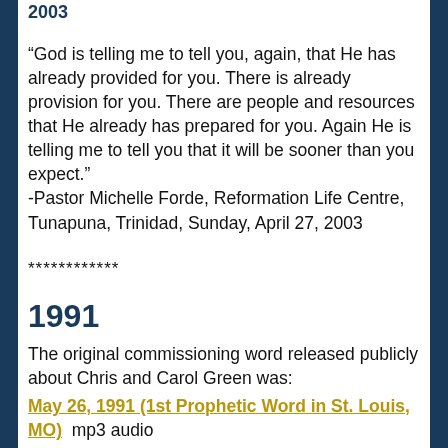2003
“God is telling me to tell you, again, that He has already provided for you. There is already provision for you. There are people and resources that He already has prepared for you. Again He is telling me to tell you that it will be sooner than you expect."
-Pastor Michelle Forde, Reformation Life Centre, Tunapuna, Trinidad, Sunday, April 27, 2003
************
1991
The original commissioning word released publicly about Chris and Carol Green was:
May 26, 1991 (1st Prophetic Word in St. Louis, MO)  mp3 audio